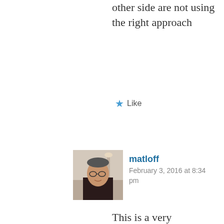other side are not using the right approach
★ Like
[Figure (photo): Profile photo of a man with glasses in a dark shirt]
matloff
February 3, 2016 at 8:34 pm
This is a very Politically Correct
Privacy & Cookies: This site uses cookies. By continuing to use this website, you agree to their use.
To find out more, including how to control cookies, see here: Cookie Policy
Close and accept
not a zero-sum